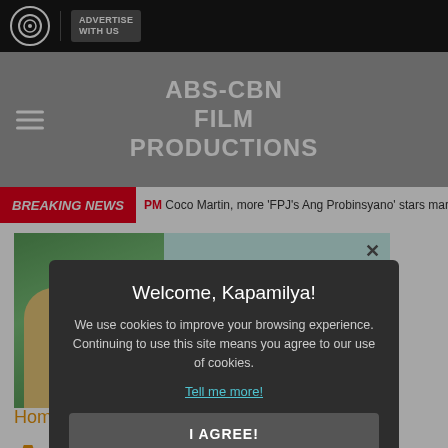ABS-CBN FILM PRODUCTIONS
BREAKING NEWS  PM  Coco Martin, more 'FPJ's Ang Probinsyano' stars mark s
[Figure (screenshot): Advertisement banner showing two children looking at a phone with text 'Be a part of their back-to-school story']
Home > ... gets...
And gets... she leaves newborn
Welcome, Kapamilya!

We use cookies to improve your browsing experience.
Continuing to use this site means you agree to our use of cookies.

Tell me more!

I AGREE!